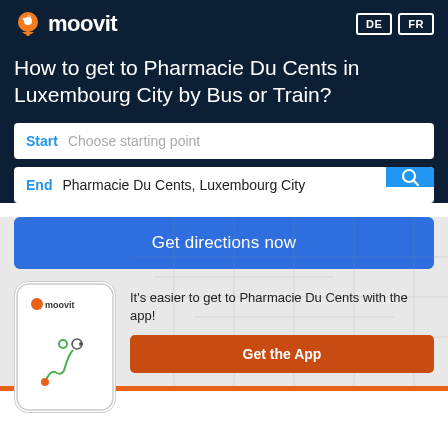[Figure (logo): Moovit logo with orange pin icon and white text on dark background]
DE   FR
How to get to Pharmacie Du Cents in Luxembourg City by Bus or Train?
Start  Choose starting point
End  Pharmacie Du Cents, Luxembourg City
Get directions now
[Figure (screenshot): Mobile phone mockup showing Moovit app with route map]
It's easier to get to Pharmacie Du Cents with the app!
Get the App